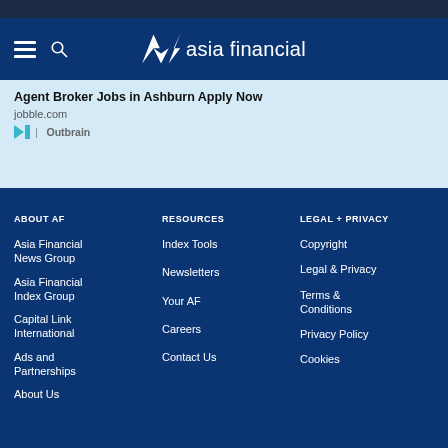asia financial
[Figure (screenshot): Advertisement banner with text 'Agent Broker Jobs in Ashburn Apply Now', source 'jobble.com', powered by Outbrain]
ABOUT AF
Asia Financial News Group
Asia Financial Index Group
Capital Link International
Ads and Partnerships
About Us
RESOURCES
Index Tools
Newsletters
Your AF
Careers
Contact Us
LEGAL + PRIVACY
Copyright
Legal & Privacy
Terms & Conditions
Privacy Policy
Cookies